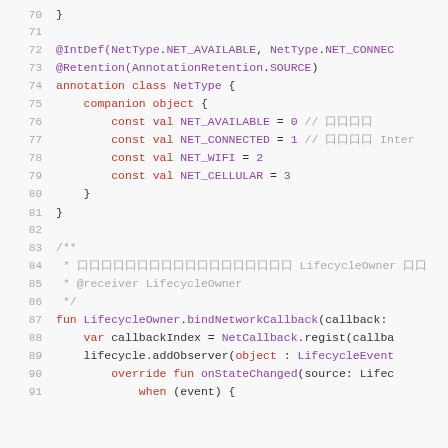[Figure (screenshot): Code snippet showing Kotlin source code lines 70-91, featuring NetType annotation class definition and LifecycleOwner extension function bindNetworkCallback.]